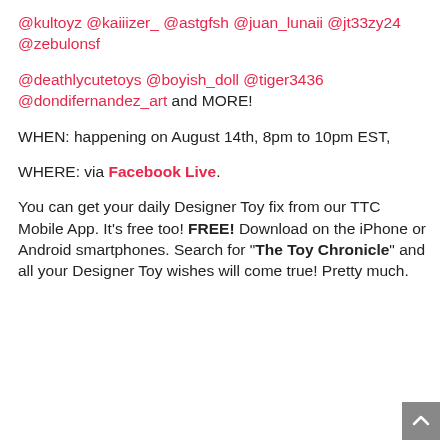@kultoyz @kaiiizer_ @astgfsh @juan_lunaii @jt33zy24 @zebulonsf
@deathlycutetoys @boyish_doll @tiger3436 @dondifernandez_art and MORE!
WHEN: happening on August 14th, 8pm to 10pm EST,
WHERE: via Facebook Live.
You can get your daily Designer Toy fix from our TTC Mobile App. It’s free too! FREE! Download on the iPhone or Android smartphones. Search for “The Toy Chronicle” and all your Designer Toy wishes will come true! Pretty much.